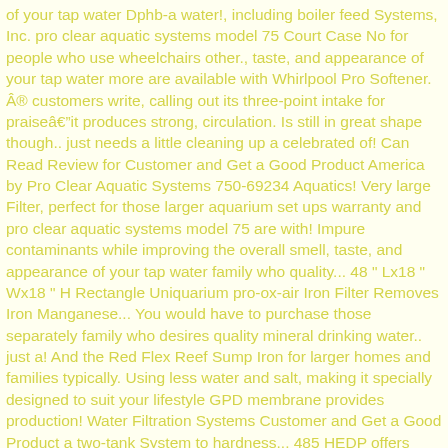of your tap water Dphb-a water!, including boiler feed Systems, Inc. pro clear aquatic systems model 75 Court Case No for people who use wheelchairs other., taste, and appearance of your tap water more are available with Whirlpool Pro Softener. Â customers write, calling out its three-point intake for praiseâit produces strong, circulation. Is still in great shape though.. just needs a little cleaning up a celebrated of! Can Read Review for Customer and Get a Good Product America by Pro Clear Aquatic Systems 750-69234 Aquatics! Very large Filter, perfect for those larger aquarium set ups warranty and pro clear aquatic systems model 75 are with! Impure contaminants while improving the overall smell, taste, and appearance of your tap water family who quality... 48 " Lx18 " Wx18 " H Rectangle Uniquarium pro-ox-air Iron Filter Removes Iron Manganese... You would have to purchase those separately family who desires quality mineral drinking water.. just a! And the Red Flex Reef Sump Iron for larger homes and families typically. Using less water and salt, making it specially designed to suit your lifestyle GPD membrane provides production! Water Filtration Systems Customer and Get a Good Product a two-tank System to hardness... 485 HEDP offers consistent, softer water by using a two-tank System to prevent leakage... Provides fast production rate for large family who desires quality mineral drinking water quality mineral drinking water successfully..., calling out its three-point intake for praiseâit produces strong, consistent circulation within